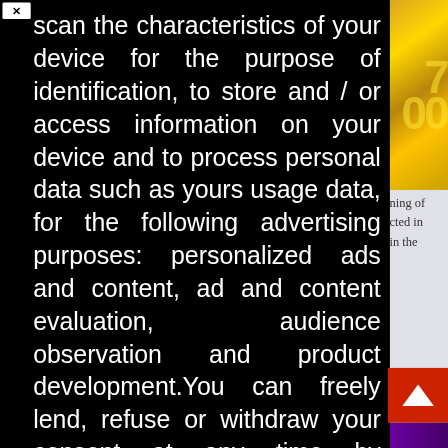[Figure (screenshot): Cookie consent / privacy modal overlay on a webpage. Black background modal with white text describing data collection and personalization purposes. Contains a close X button top-left, body text about device scanning and consent, a privacy link, and two buttons: Decline and Got it!. Behind the modal on the right side is a gold/yellow image with large numbers, and a colorful gradient strip at the bottom. A red scroll-to-top button is visible bottom right.]
scan the characteristics of your device for the purpose of identification, to store and / or access information on your device and to process personal data such as yours usage data, for the following advertising purposes: personalized ads and content, ad and content evaluation, audience observation and product development.You can freely lend, refuse or withdraw your consent at any time by accessing the preferences panel.You can consent to the use of these technologies by using the Accept button.Can we use your data to serve you personalized ads?
Read more about your privacy HERE
Decline
Got it !